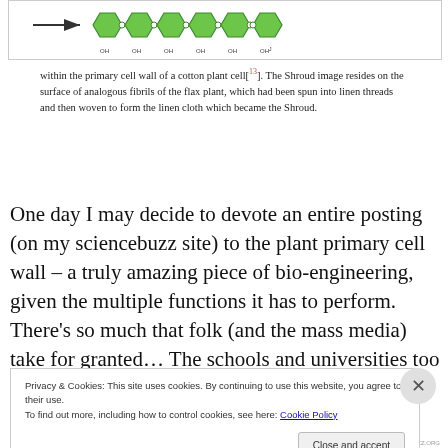[Figure (illustration): A diagram showing cellulose chain structure with green hexagonal sugar rings connected in a chain, with OH groups labeled, and an arrow pointing right, representing cellulose fibrils in a cotton plant cell wall.]
within the primary cell wall of a cotton plant cell[13]. The Shroud image resides on the surface of analogous fibrils of the flax plant, which had been spun into linen threads and then woven to form the linen cloth which became the Shroud.
One day I may decide to devote an entire posting (on my sciencebuzz site) to the plant primary cell wall – a truly amazing piece of bio-engineering, given the multiple functions it has to perform.  There's so much that folk (and the mass media) take for granted… The schools and universities too fail in my opinion to instil a proper sense of
Privacy & Cookies: This site uses cookies. By continuing to use this website, you agree to their use.
To find out more, including how to control cookies, see here: Cookie Policy
Close and accept